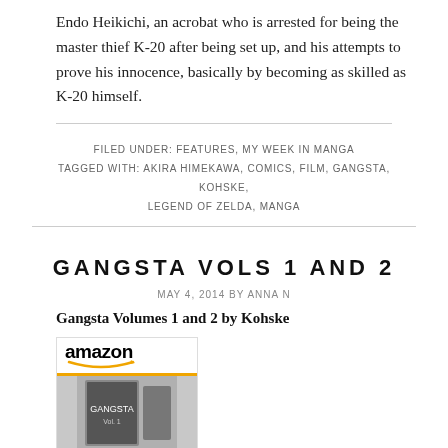Endo Heikichi, an acrobat who is arrested for being the master thief K-20 after being set up, and his attempts to prove his innocence, basically by becoming as skilled as K-20 himself.
FILED UNDER: FEATURES, MY WEEK IN MANGA
TAGGED WITH: AKIRA HIMEKAWA, COMICS, FILM, GANGSTA, KOHSKE, LEGEND OF ZELDA, MANGA
GANGSTA VOLS 1 AND 2
MAY 4, 2014 BY ANNA N
Gangsta Volumes 1 and 2 by Kohske
[Figure (logo): Amazon logo with orange smile swoosh underline, followed by a book cover image for Gangsta Vol 1]